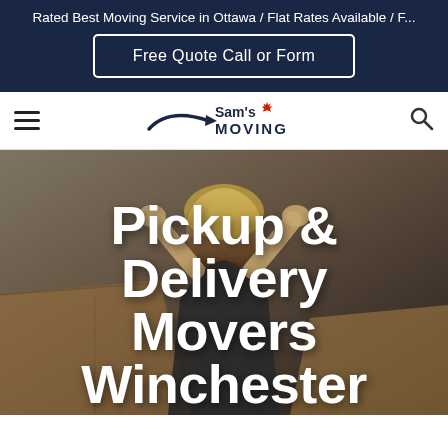Rated Best Moving Service in Ottawa / Flat Rates Available / F...
Free Quote Call or Form
[Figure (logo): Sam's Moving company logo with maple leaf and arrow swoosh]
Pickup & Delivery Movers Winchester
[Figure (photo): Woman with hands on head surrounded by cardboard boxes, appearing stressed or overwhelmed during moving process]